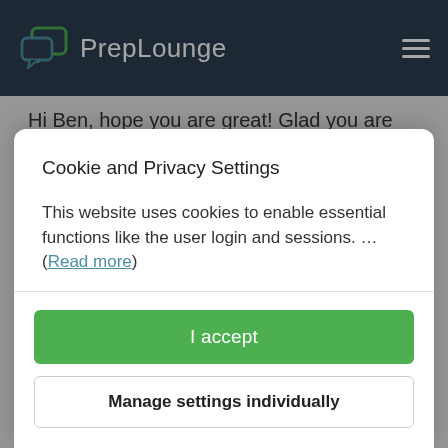PrepLounge
Hi Ben, hope you are great! Glad you are enjoying the cases and drills.  Here I leave you the link of 4 cases that I have published here in the library. Another great thing is that, if you have any questions, you can … (read
Cookie and Privacy Settings
This website uses cookies to enable essential functions like the user login and sessions. … (Read more)
I accept
Manage settings individually